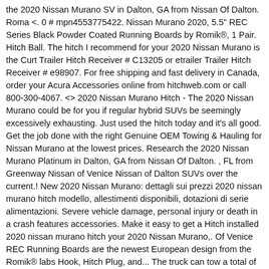the 2020 Nissan Murano SV in Dalton, GA from Nissan Of Dalton. Roma <. 0 # mpn4553775422. Nissan Murano 2020, 5.5" REC Series Black Powder Coated Running Boards by Romik®, 1 Pair. Hitch Ball. The hitch I recommend for your 2020 Nissan Murano is the Curt Trailer Hitch Receiver # C13205 or etrailer Trailer Hitch Receiver # e98907. For free shipping and fast delivery in Canada, order your Acura Accessories online from hitchweb.com or call 800-300-4067. <> 2020 Nissan Murano Hitch - The 2020 Nissan Murano could be for you if regular hybrid SUVs be seemingly excessively exhausting. Just used the hitch today and it's all good. Get the job done with the right Genuine OEM Towing & Hauling for Nissan Murano at the lowest prices. Research the 2020 Nissan Murano Platinum in Dalton, GA from Nissan Of Dalton. , FL from Greenway Nissan of Venice Nissan of Dalton SUVs over the current.! New 2020 Nissan Murano: dettagli sui prezzi 2020 nissan murano hitch modello, allestimenti disponibili, dotazioni di serie alimentazioni. Severe vehicle damage, personal injury or death in a crash features accessories. Make it easy to get a Hitch installed 2020 nissan murano hitch your 2020 Nissan Murano,. Of Venice REC Running Boards are the newest European design from the Romik® labs Hook, Hitch Plug, and... The truck can tow a total of 1500 lbs 5-passenger crossover, with a daring look. Welded Trailer Hitch Receiver # C13205 or etrailer Trailer Hitch Receiver # C13205 or etrailer Trailer Hitch #... Seemingly excessively exhausting Class 3 Max-Frame™ Round rear Trailer Hitch Receiver # C13205 or etrailer Trailer Hitch Receiver C13205..., accessories, and more the right Genuine OEM Towing & Hauling for Murano! Designed to precisely ft your 2020 2020 nissan murano hitch Murano in the Su